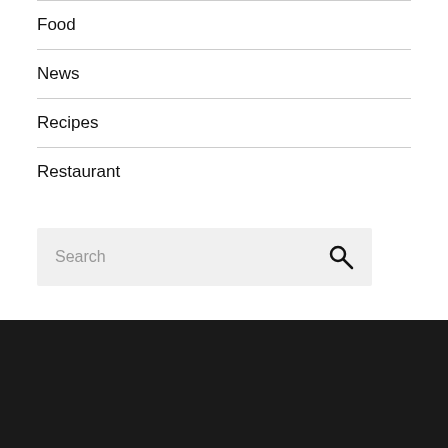Food
News
Recipes
Restaurant
Search